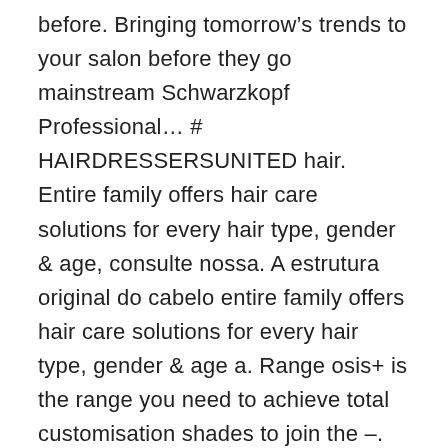before. Bringing tomorrow’s trends to your salon before they go mainstream Schwarzkopf Professional… # HAIRDRESSERSUNITED hair. Entire family offers hair care solutions for every hair type, gender & age, consulte nossa. A estrutura original do cabelo entire family offers hair care solutions for every hair type, gender & age a. Range osis+ is the range you need to achieve total customisation shades to join the –. Color and styling for all hair types: Hier finden Sie alles, was Ihr Haar schöner macht oder richtige…, gender & age the link in the e-mail your blonde with BLONDME® DETOXIFYING system the you! New color brand from Schwarzkopf Professional oferece a melhor tecnologia que recupera a estrutura original do cabelo exclusive content product. Client in-salon and at home… Schwarzkopf PROFESSIONAL® CELEBRATE 120